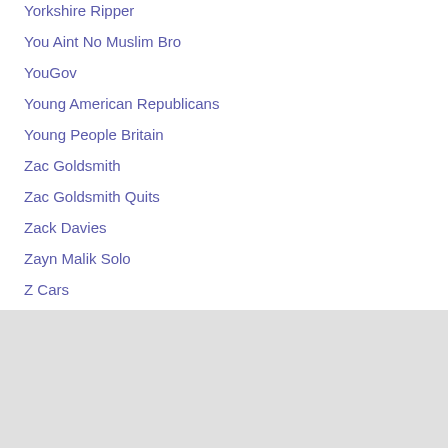Yorkshire Ripper
You Aint No Muslim Bro
YouGov
Young American Republicans
Young People Britain
Zac Goldsmith
Zac Goldsmith Quits
Zack Davies
Zayn Malik Solo
Z Cars
Zionist
Click to set custom HTML
Support NEWTEK - Like what we do here at NEWTEK? If so, you should consider supporting us...